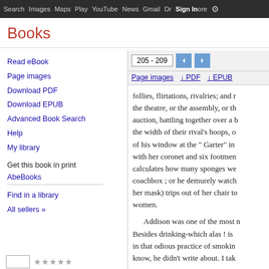Search  Images  Maps  Play  YouTube  News  Gmail  Drive  More  Sign in
Books
Read eBook
Page images
Download PDF
Download EPUB
Advanced Book Search
Help
My library
Get this book in print
AbeBooks
Find in a library
All sellers »
205 - 209
Page images  ↓ PDF  ↓ EPUB
follies, flirtations, rivalries; and r the theatre, or the assembly, or th auction, battling together over a b the width of their rival's hoops, o of his window at the " Garter" in with her coronet and six footmen calculates how many sponges we coachbox ; or he demurely watch her mask) trips out of her chair to women.
Addison was one of the most n Besides drinking-which alas ! is in that odious practice of smokin know, he didn't write about. I tak